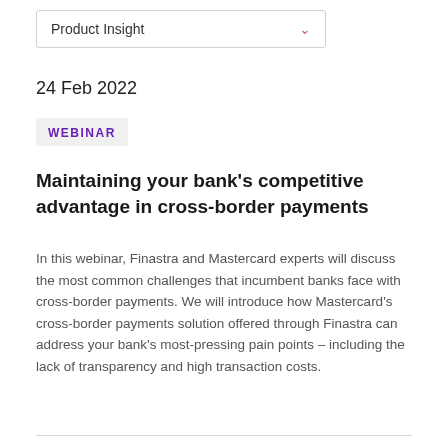Product Insight
24 Feb 2022
WEBINAR
Maintaining your bank's competitive advantage in cross-border payments
In this webinar, Finastra and Mastercard experts will discuss the most common challenges that incumbent banks face with cross-border payments. We will introduce how Mastercard's cross-border payments solution offered through Finastra can address your bank's most-pressing pain points – including the lack of transparency and high transaction costs.